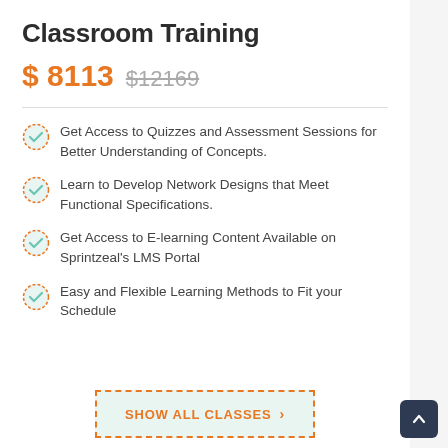Classroom Training
$ 8113  $12169
Get Access to Quizzes and Assessment Sessions for Better Understanding of Concepts.
Learn to Develop Network Designs that Meet Functional Specifications.
Get Access to E-learning Content Available on Sprintzeal's LMS Portal
Easy and Flexible Learning Methods to Fit your Schedule
SHOW ALL CLASSES >